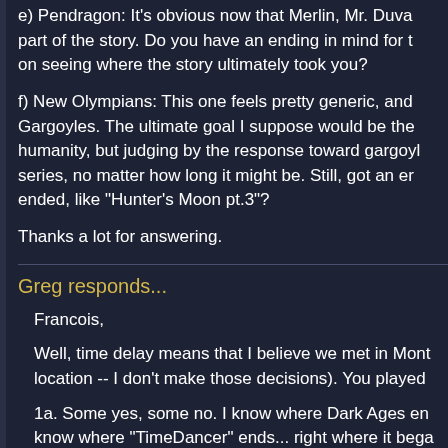e) Pendragon: It's obvious now that Merlin, Mr. Duva part of the story. Do you have an ending in mind for t on seeing where the story ultimately took you?
f) New Olympians: This one feels pretty generic, and Gargoyles. The ultimate goal I suppose would be the humanity, but judging by the response toward gargoyles series, no matter how long it might be. Still, got an er ended, like "Hunter's Moon pt.3"?
Thanks a lot for answering.
Greg responds...
Francois,
Well, time delay means that I believe we met in Mont location -- I don't make those decisions). You played
1a. Some yes, some no. I know where Dark Ages en know where "TimeDancer" ends... right where it bega the Space-Spawn thing is resolved, but I don't think t 2198. And likewise, I don't have a firm ending for Per